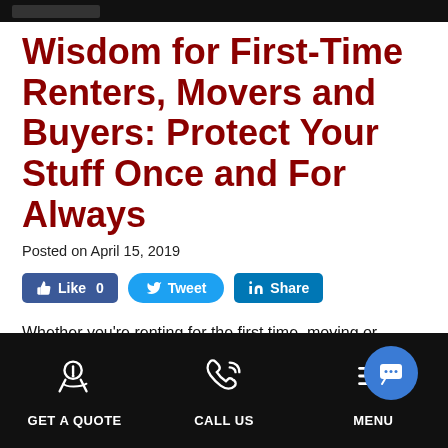Wisdom for First-Time Renters, Movers and Buyers: Protect Your Stuff Once and For Always
Posted on April 15, 2019
[Figure (screenshot): Social sharing buttons: Like 0 (Facebook), Tweet (Twitter), Share (LinkedIn)]
Whether you're renting for the first time, moving or buying, you need to protect your stuff. Here's how:
GET A QUOTE   CALL US   MENU